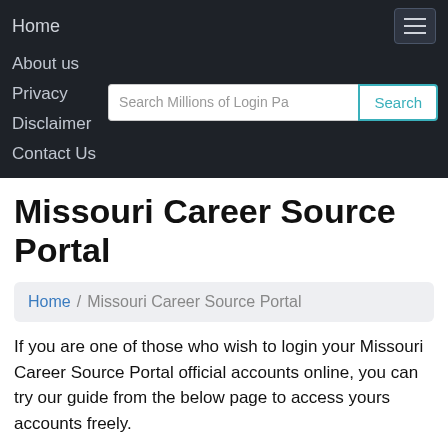Home
About us
Privacy
Disclaimer
Contact Us
Missouri Career Source Portal
Home / Missouri Career Source Portal
If you are one of those who wish to login your Missouri Career Source Portal official accounts online, you can try our guide from the below page to access yours accounts freely.